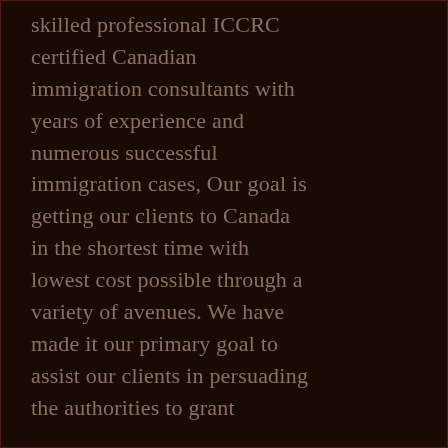skilled professional ICCRC certified Canadian immigration consultants with years of experience and numerous successful immigration cases, Our goal is getting our clients to Canada in the shortest time with lowest cost possible through a variety of avenues. We have made it our primary goal to assist our clients in persuading the authorities to grant